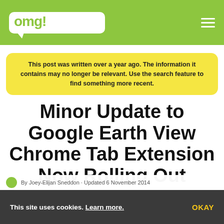omg! chrome!
This post was written over a year ago. The information it contains may no longer be relevant. Use the search feature to find something more recent.
Minor Update to Google Earth View Chrome Tab Extension Now Rolling Out
This site uses cookies. Learn more. OKAY
By Joey-Elijan Sneddon · Updated 6 November 2014